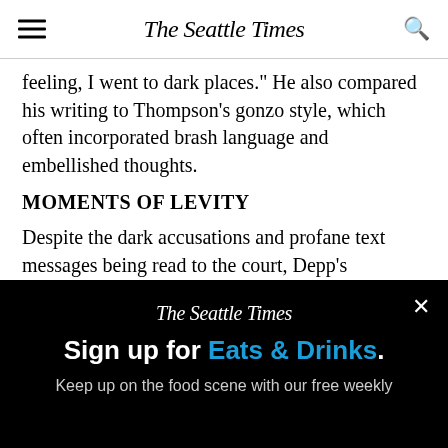The Seattle Times
feeling, I went to dark places." He also compared his writing to Thompson's gonzo style, which often incorporated brash language and embellished thoughts.
MOMENTS OF LEVITY
Despite the dark accusations and profane text messages being read to the court, Depp's testimony has on occasion featured humorous moments.
Asked whether he would sometimes drink whiskey
[Figure (other): The Seattle Times newsletter signup advertisement overlay with close button (×), logo, headline 'Sign up for Eats & Drinks.', and subtext 'Keep up on the food scene with our free weekly']